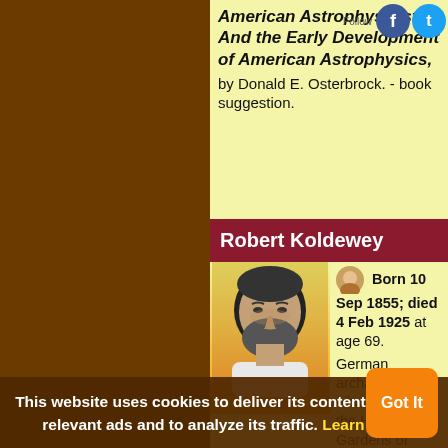American Astrophysicist: And the Early Development of American Astrophysics, by Donald E. Osterbrock. - book suggestion.
Robert Koldewey
[Figure (photo): Black and white portrait photo of Robert Koldewey, bearded man looking downward]
(source)
Born 10 Sep 1855; died 4 Feb 1925 at age 69. German archaeologist who discovered the Hanging Gardens of Babylon (ca. 580 BC) in modern day Iraq, thus confirming its
This website uses cookies to deliver its content, to show relevant ads and to analyze its traffic. Learn More